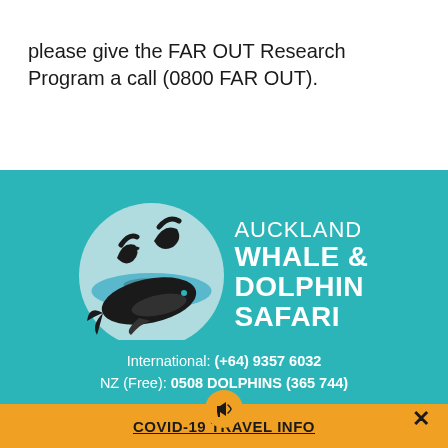please give the FAR OUT Research Program a call (0800 FAR OUT).
[Figure (logo): Auckland Whale & Dolphin Safari logo: circular emblem with a large black whale and two leaping dolphins over a blue water scene, on a teal background, with brand name text to the right.]
International: (+64) 9357 6032
NZ (Free): 0508 DOLPHINS (365 744)
COVID-19 TRAVEL INFO